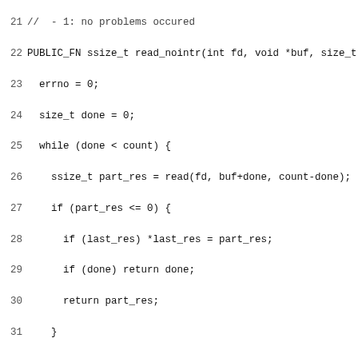Source code listing lines 21-52 showing read_nointr and write_nointr functions in C